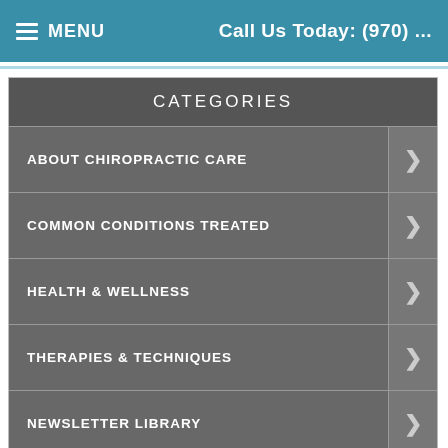MENU | Call Us Today: (970) ...
CATEGORIES
ABOUT CHIROPRACTIC CARE
COMMON CONDITIONS TREATED
HEALTH & WELLNESS
THERAPIES & TECHNIQUES
NEWSLETTER LIBRARY
WELLNESS4KIDS
Appointment Request Form
Please provide   Accessibility View   × s.